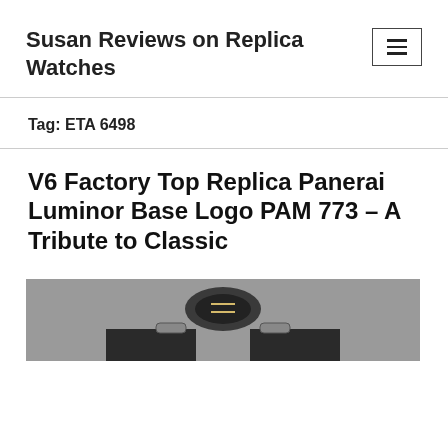Susan Reviews on Replica Watches
Tag: ETA 6498
V6 Factory Top Replica Panerai Luminor Base Logo PAM 773 – A Tribute to Classic
[Figure (photo): Partial view of a watch crown and strap area against a grey background]